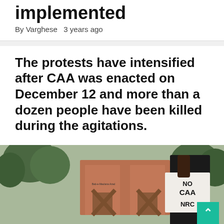implemented
By Varghese   3 years ago
The protests have intensified after CAA was enacted on December 12 and more than a dozen people have been killed during the agitations.
[Figure (photo): Protest photo showing a person holding a sign reading 'NO CAA NRC' in front of a brick building (Bab-e-Maulana Azad) with trees in the background. A teal/green scroll-to-top button is visible in the bottom right corner.]